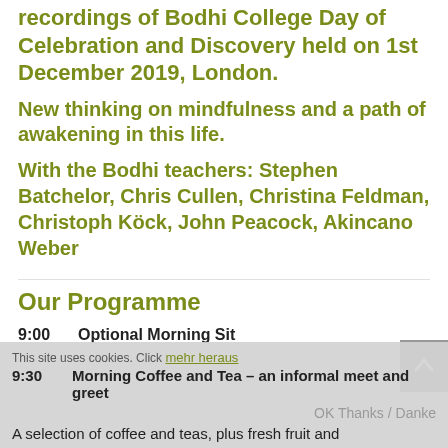recordings of Bodhi College Day of Celebration and Discovery held on 1st December 2019, London.
New thinking on mindfulness and a path of awakening in this life.
With the Bodhi teachers: Stephen Batchelor, Chris Cullen, Christina Feldman, Christoph Köck, John Peacock, Akincano Weber
Our Programme
9:00   Optional Morning Sit
9:30   Morning Coffee and Tea – an informal meet and greet
A selection of coffee and teas, plus fresh fruit and